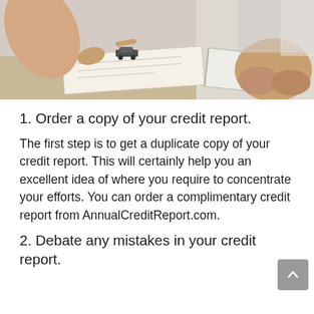[Figure (photo): Photo of two people at a desk, one pointing at papers with a small toy car on them, the other with hands clasped, suggesting a car loan or financial consultation meeting.]
1. Order a copy of your credit report.
The first step is to get a duplicate copy of your credit report. This will certainly help you an excellent idea of where you require to concentrate your efforts. You can order a complimentary credit report from AnnualCreditReport.com.
2. Debate any mistakes in your credit report.